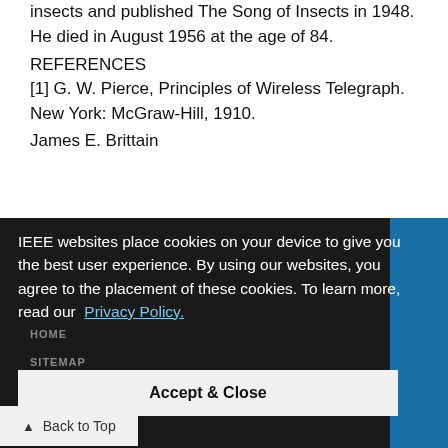insects and published The Song of Insects in 1948. He died in August 1956 at the age of 84.
REFERENCES
[1] G. W. Pierce, Principles of Wireless Telegraph.   New York: McGraw-Hill, 1910.
James E. Brittain
IEEE websites place cookies on your device to give you the best user experience. By using our websites, you agree to the placement of these cookies. To learn more, read our  Privacy Policy.
HOME
SITEMAP
Accept & Close
▲ Back to Top